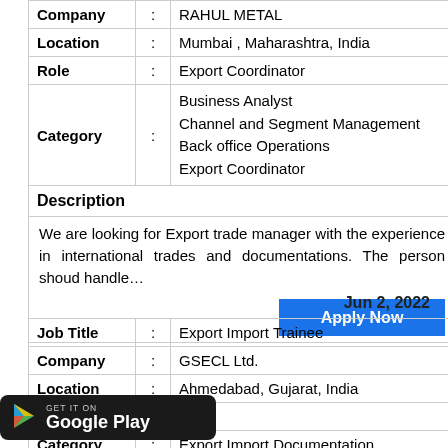| Company | : | RAHUL METAL |
| Location | : | Mumbai , Maharashtra, India |
| Role | : | Export Coordinator |
| Category | : | Business Analyst
Channel and Segment Management
Back office Operations
Export Coordinator |
| Description |  |  |
|  |  | We are looking for Export trade manager with the experience in international trades and documentations. The person shoud handle… |
Jun 2, 2022
| Job Title | : | Export Import Trainee |
| Company | : | GSECL Ltd. |
| Location | : | Ahmedabad, Gujarat, India |
| Role | : | er |
| Category | : | Export Import Documentation |
| Description |  |  |
[Figure (logo): Google Play badge - GET IT ON Google Play]